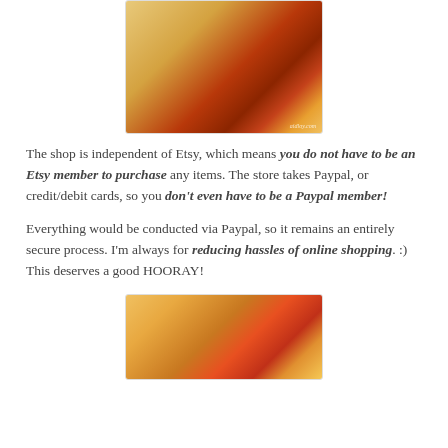[Figure (photo): Photo of miniature fast food items (burger, fries) as paper craft, with watermark 'aidloy.com']
The shop is independent of Etsy, which means you do not have to be an Etsy member to purchase any items. The store takes Paypal, or credit/debit cards, so you don't even have to be a Paypal member!
Everything would be conducted via Paypal, so it remains an entirely secure process. I'm always for reducing hassles of online shopping. :) This deserves a good HOORAY!
[Figure (photo): Photo of miniature McDonald's fast food items as paper craft]